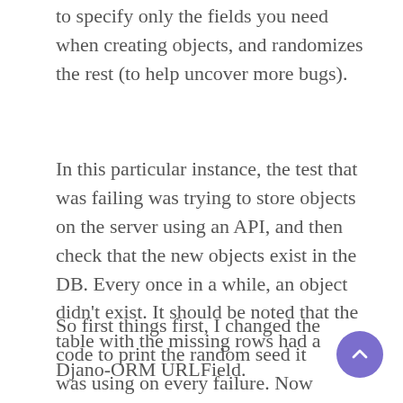to specify only the fields you need when creating objects, and randomizes the rest (to help uncover more bugs).
In this particular instance, the test that was failing was trying to store objects on the server using an API, and then check that the new objects exist in the DB. Every once in a while, an object didn't exist. It should be noted that the table with the missing rows had a Djano-ORM URLField.
So first things first, I changed the code to print the random seed it was using on every failure. Now the next time it failed (a day later), I had